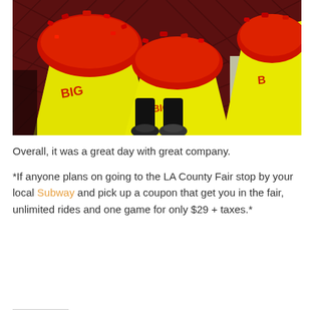[Figure (photo): Overhead photo of people holding yellow paper bags branded with 'BIG' logo, filled with red-topped food items (Flamin Hot Cheetos covered snacks), standing on a dark red patterned floor. Black shoes visible at bottom center.]
Overall, it was a great day with great company.
*If anyone plans on going to the LA County Fair stop by your local Subway and pick up a coupon that get you in the fair, unlimited rides and one game for only $29 + taxes.*